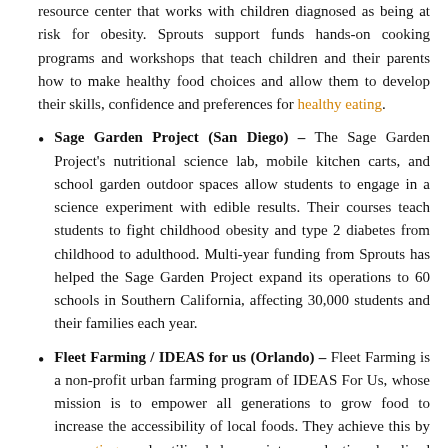resource center that works with children diagnosed as being at risk for obesity. Sprouts support funds hands-on cooking programs and workshops that teach children and their parents how to make healthy food choices and allow them to develop their skills, confidence and preferences for healthy eating.
Sage Garden Project (San Diego) – The Sage Garden Project's nutritional science lab, mobile kitchen carts, and school garden outdoor spaces allow students to engage in a science experiment with edible results. Their courses teach students to fight childhood obesity and type 2 diabetes from childhood to adulthood. Multi-year funding from Sprouts has helped the Sage Garden Project expand its operations to 60 schools in Southern California, affecting 30,000 students and their families each year.
Fleet Farming / IDEAS for us (Orlando) – Fleet Farming is a non-profit urban farming program of IDEAS For Us, whose mission is to empower all generations to grow food to increase the accessibility of local foods. They achieve this by converting underutilized lawns into productive localized edible gardens or